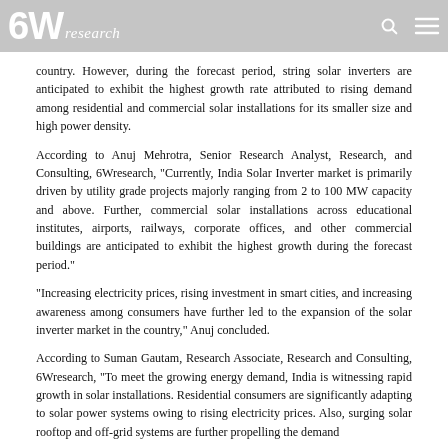6Wresearch
country. However, during the forecast period, string solar inverters are anticipated to exhibit the highest growth rate attributed to rising demand among residential and commercial solar installations for its smaller size and high power density.
According to Anuj Mehrotra, Senior Research Analyst, Research, and Consulting, 6Wresearch, "Currently, India Solar Inverter market is primarily driven by utility grade projects majorly ranging from 2 to 100 MW capacity and above. Further, commercial solar installations across educational institutes, airports, railways, corporate offices, and other commercial buildings are anticipated to exhibit the highest growth during the forecast period."
"Increasing electricity prices, rising investment in smart cities, and increasing awareness among consumers have further led to the expansion of the solar inverter market in the country," Anuj concluded.
According to Suman Gautam, Research Associate, Research and Consulting, 6Wresearch, "To meet the growing energy demand, India is witnessing rapid growth in solar installations. Residential consumers are significantly adapting to solar power systems owing to rising electricity prices. Also, surging solar rooftop and off-grid systems are further propelling the demand